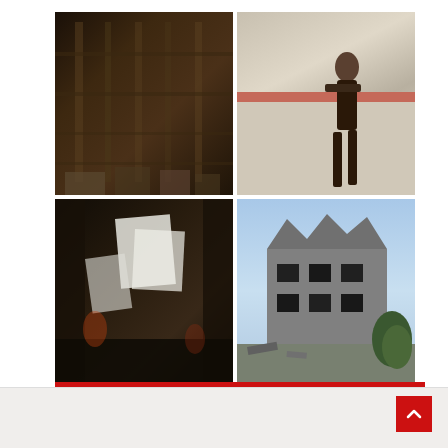[Figure (photo): A 2x2 grid of four photographs showing destruction and conflict scenes: top-left shows a burned/destroyed interior building, top-right shows a person on a road or surface, bottom-left shows another burned/darkened interior, bottom-right shows a destroyed building exterior against a blue sky.]
British And Nigerian Governments Plan To Destabilize The Biafra Nation